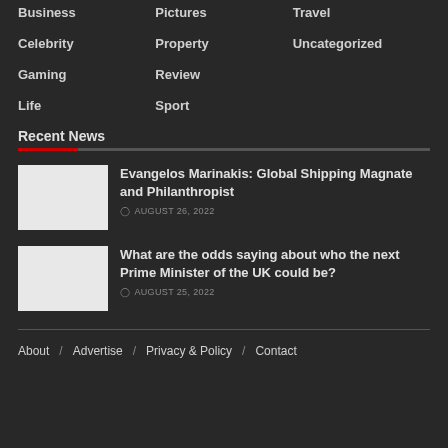Business
Pictures
Travel
Celebrity
Property
Uncategorized
Gaming
Review
Life
Sport
Recent News
Evangelos Marinakis: Global Shipping Magnate and Philanthropist
AUGUST 26, 2022
What are the odds saying about who the next Prime Minister of the UK could be?
AUGUST 25, 2022
About / Advertise / Privacy & Policy / Contact